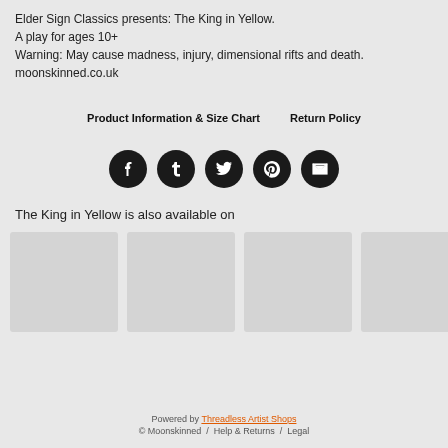Elder Sign Classics presents: The King in Yellow.
A play for ages 10+
Warning: May cause madness, injury, dimensional rifts and death.
moonskinned.co.uk
Product Information & Size Chart    Return Policy
[Figure (infographic): Five circular dark social media share icons in a row: Facebook, Tumblr, Twitter, Pinterest, Email]
The King in Yellow is also available on
[Figure (other): Six product thumbnail images shown in a horizontal row, light gray placeholder boxes]
Powered by Threadless Artist Shops
© Moonskinned  /  Help & Returns  /  Legal